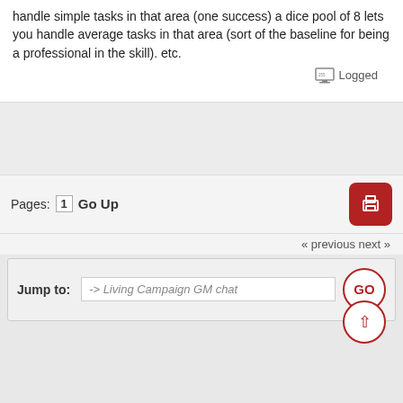handle simple tasks in that area (one success) a dice pool of 8 lets you handle average tasks in that area (sort of the baseline for being a professional in the skill). etc.
Logged
Pages: [1]  Go Up
« previous next »
Jump to:  -> Living Campaign GM chat  GO